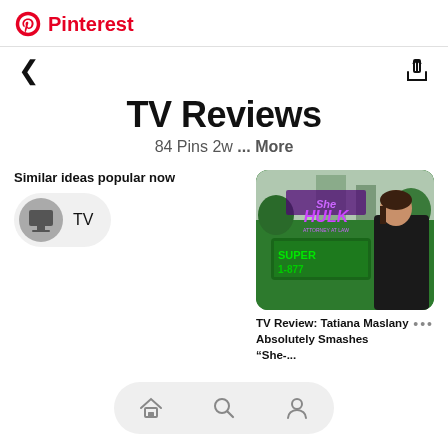Pinterest
TV Reviews
84 Pins 2w ... More
Similar ideas popular now
TV
[Figure (photo): She-Hulk Attorney at Law promotional image with Tatiana Maslany and green She-Hulk billboard]
TV Review: Tatiana Maslany Absolutely Smashes “She-...
[Figure (infographic): Pinterest mobile app bottom navigation bar with home, search, and profile icons]